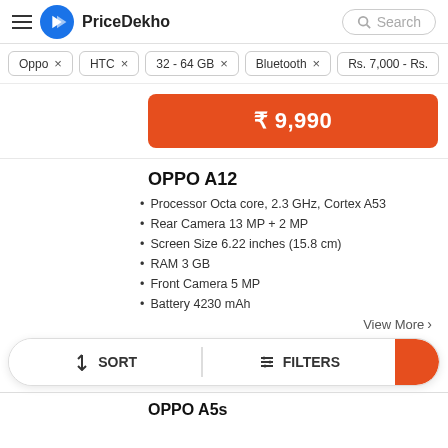PriceDekho
Oppo ×
HTC ×
32 - 64 GB ×
Bluetooth ×
Rs. 7,000 - Rs.
₹ 9,990
OPPO A12
Processor Octa core, 2.3 GHz, Cortex A53
Rear Camera 13 MP + 2 MP
Screen Size 6.22 inches (15.8 cm)
RAM 3 GB
Front Camera 5 MP
Battery 4230 mAh
View More >
SORT   FILTERS
OPPO A5s